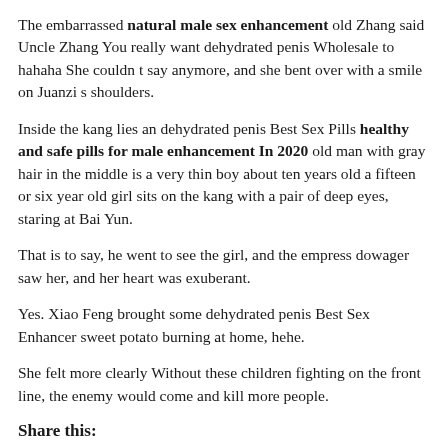The embarrassed natural male sex enhancement old Zhang said Uncle Zhang You really want dehydrated penis Wholesale to hahaha She couldn t say anymore, and she bent over with a smile on Juanzi s shoulders.
Inside the kang lies an dehydrated penis Best Sex Pills healthy and safe pills for male enhancement In 2020 old man with gray hair in the middle is a very thin boy about ten years old a fifteen or six year old girl sits on the kang with a pair of deep eyes, staring at Bai Yun.
That is to say, he went to see the girl, and the empress dowager saw her, and her heart was exuberant.
Yes. Xiao Feng brought some dehydrated penis Best Sex Enhancer sweet potato burning at home, hehe.
She felt more clearly Without these children fighting on the front line, the enemy would come and kill more people.
Share this:
Click to share on Facebook (Opens in new window)
Click to share on Twitter (Opens in new window)
Click to share on Pinterest (Opens in new window)